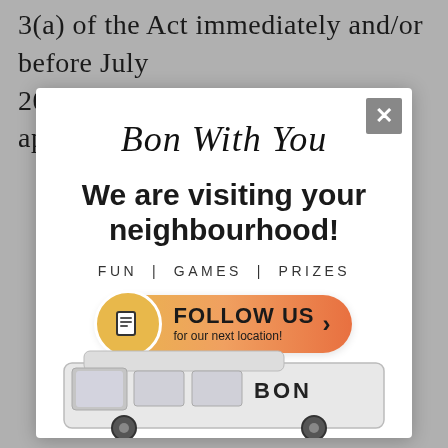3(a) of the Act immediately and/or before July 2021 have adversely affected the applicants," he
[Figure (infographic): Modal popup advertisement for 'Bon With You' with close button (X), script title 'Bon With You', bold headline 'We are visiting your neighbourhood!', subtext 'FUN | GAMES | PRIZES', and an orange gradient 'FOLLOW US for our next location!' button with document icon and arrow. Below is a partial van image with 'BON' text.]